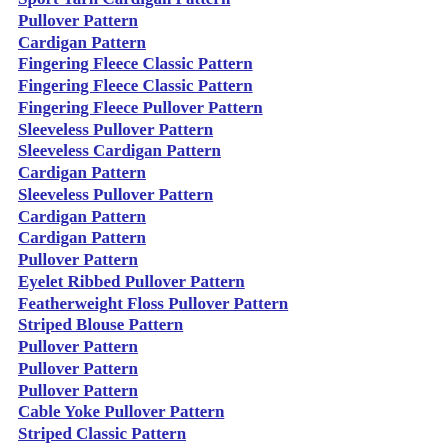Sport Yarn Cardigan Pattern
Pullover Pattern
Cardigan Pattern
Fingering Fleece Classic Pattern
Fingering Fleece Classic Pattern
Fingering Fleece Pullover Pattern
Sleeveless Pullover Pattern
Sleeveless Cardigan Pattern
Cardigan Pattern
Sleeveless Pullover Pattern
Cardigan Pattern
Cardigan Pattern
Pullover Pattern
Eyelet Ribbed Pullover Pattern
Featherweight Floss Pullover Pattern
Striped Blouse Pattern
Pullover Pattern
Pullover Pattern
Pullover Pattern
Cable Yoke Pullover Pattern
Striped Classic Pattern
Pullover Pattern
Pullover Pattern
Sleeveless Pullover Pattern